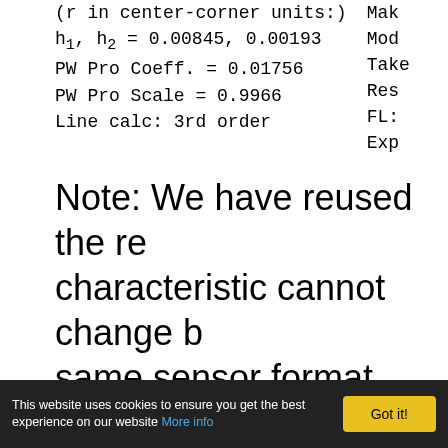(r in center-corner units:)
h1, h2 = 0.00845, 0.00193
PW Pro Coeff. = 0.01756
PW Pro Scale = 0.9966
Line calc: 3rd order
Make:
Mode:
Take:
Res:
FL:
Exp:
Note: We have reused the re characteristic cannot change b same sensor format.
Vignetting
This website uses cookies to ensure you get the best experience on our website More info